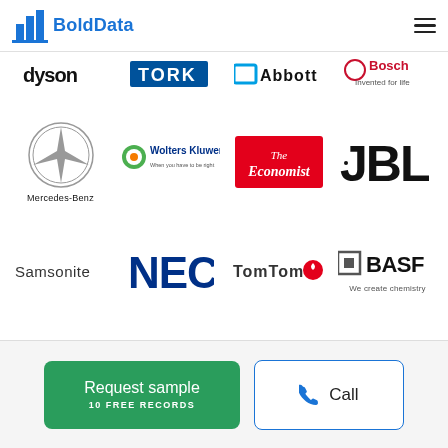[Figure (logo): BoldData logo with bar chart icon in blue]
[Figure (illustration): Hamburger menu icon (three horizontal lines)]
[Figure (logo): Dyson logo (partially visible at top)]
[Figure (logo): TORK logo (blue text, partially visible)]
[Figure (logo): Abbott logo with blue square icon (partially visible)]
[Figure (logo): Bosch Invented for life logo (partially visible)]
[Figure (logo): Mercedes-Benz logo with three-pointed star and wordmark]
[Figure (logo): Wolters Kluwer logo with globe icon]
[Figure (logo): The Economist logo in white text on red background]
[Figure (logo): JBL logo in large bold black text]
[Figure (logo): Samsonite logo in dark text]
[Figure (logo): NEC logo in large blue text]
[Figure (logo): TomTom logo with red flame icon]
[Figure (logo): BASF We create chemistry logo with square grid icon]
Request sample
10 FREE RECORDS
Call